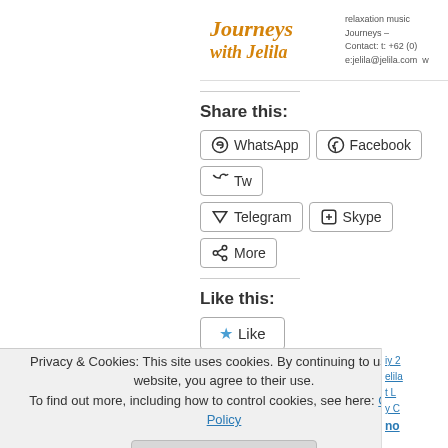[Figure (logo): Journeys with Jelila logo with italic orange text and contact info]
Share this:
WhatsApp | Facebook | Twitter (Tw…) | Telegram | Skype | More
Like this:
Like
Be the first to like this.
Filed under: CD Journey Music , Music Journey … 2013 , 2014 , Abundance , Asia Bali , Aura , Aura R…
Privacy & Cookies: This site uses cookies. By continuing to use this website, you agree to their use.
To find out more, including how to control cookies, see here: Cookie Policy
Close and accept
no